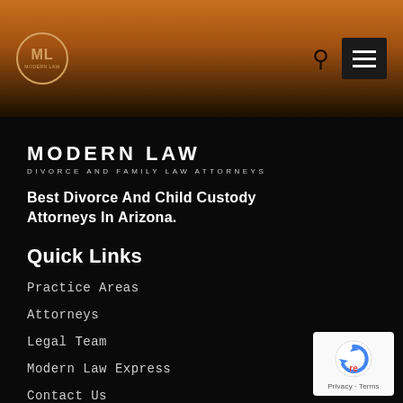[Figure (logo): Modern Law firm logo with ML initials in circle and navigation header with search icon and hamburger menu on orange-to-dark gradient background]
MODERN LAW
DIVORCE AND FAMILY LAW ATTORNEYS
Best Divorce And Child Custody Attorneys In Arizona.
Quick Links
Practice Areas
Attorneys
Legal Team
Modern Law Express
Contact Us
Privacy Policy